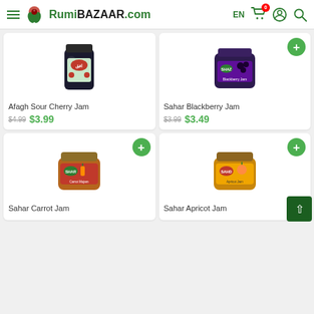RumiBazaar.com — EN, cart 0
[Figure (photo): Afagh Sour Cherry Jam product image — dark glass jar with label]
Afagh Sour Cherry Jam
$4.99 $3.99
[Figure (photo): Sahar Blackberry Jam product image — dark glass jar with purple label]
Sahar Blackberry Jam
$3.99 $3.49
[Figure (photo): Sahar Carrot Jam product image — orange glass jar with label]
Sahar Carrot Jam
[Figure (photo): Sahar Apricot Jam product image — amber glass jar with label]
Sahar Apricot Jam